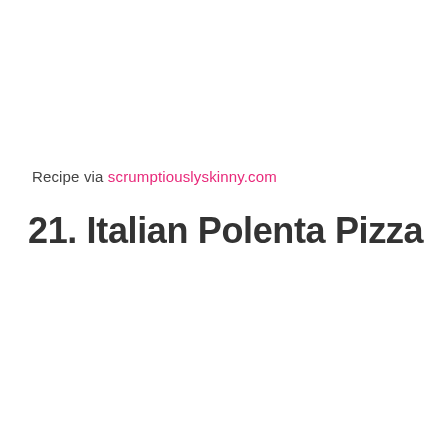Recipe via scrumptiouslyskinny.com
21. Italian Polenta Pizza